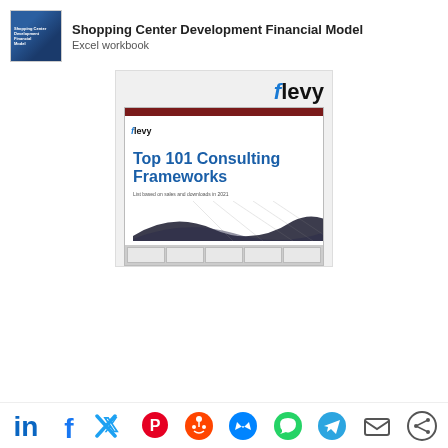[Figure (screenshot): Thumbnail image of Shopping Center Development Financial Model product listing with blue cover]
Shopping Center Development Financial Model
Excel workbook
[Figure (illustration): Preview card of Flevy document titled 'Top 101 Consulting Frameworks - List based on sales and downloads in 2021' with flevy logo, dark red top bar, wave graphic at bottom, and thumbnail previews]
[Figure (logo): Social sharing icons row: LinkedIn, Facebook, Twitter, Pinterest, Reddit, Messenger, WhatsApp, Telegram, Email, and another share icon]